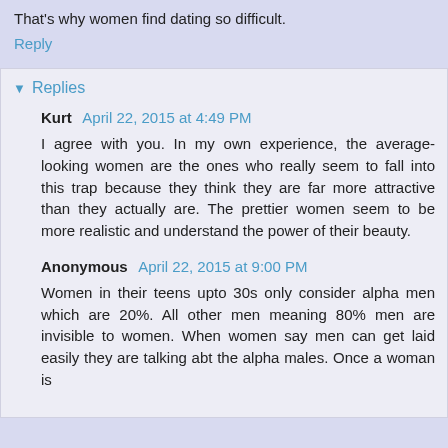That's why women find dating so difficult.
Reply
Replies
Kurt  April 22, 2015 at 4:49 PM
I agree with you. In my own experience, the average-looking women are the ones who really seem to fall into this trap because they think they are far more attractive than they actually are. The prettier women seem to be more realistic and understand the power of their beauty.
Anonymous  April 22, 2015 at 9:00 PM
Women in their teens upto 30s only consider alpha men which are 20%. All other men meaning 80% men are invisible to women. When women say men can get laid easily they are talking abt the alpha males. Once a woman is